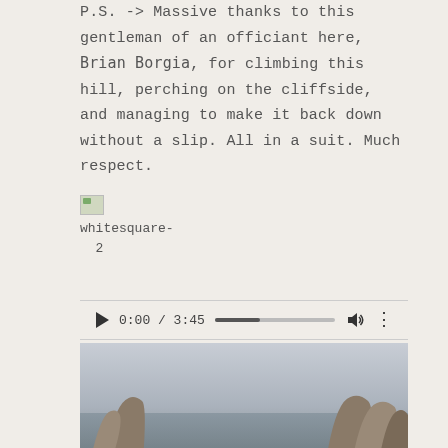P.S. -> Massive thanks to this gentleman of an officiant here, Brian Borgia, for climbing this hill, perching on the cliffside, and managing to make it back down without a slip. All in a suit. Much respect.
[Figure (other): Broken image placeholder with label 'whitesquare-' and number '2' below it]
[Figure (other): Audio player widget showing play button, timestamp 0:00 / 3:45, progress bar, volume icon, and more options icon]
[Figure (photo): Outdoor photograph showing rocky sea stacks or cliffs in a misty/hazy coastal environment with water visible]